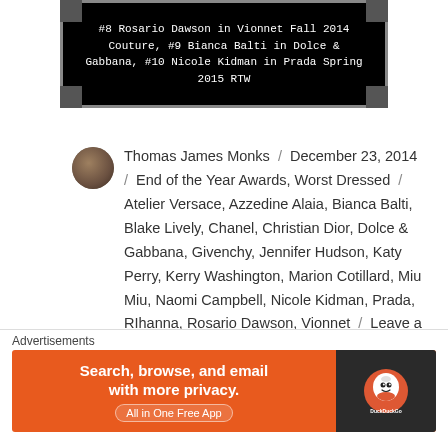[Figure (photo): Black image caption bar showing text: #8 Rosario Dawson in Vionnet Fall 2014 Couture, #9 Bianca Balti in Dolce & Gabbana, #10 Nicole Kidman in Prada Spring 2015 RTW]
Thomas James Monks / December 23, 2014 / End of the Year Awards, Worst Dressed / Atelier Versace, Azzedine Alaia, Bianca Balti, Blake Lively, Chanel, Christian Dior, Dolce & Gabbana, Givenchy, Jennifer Hudson, Katy Perry, Kerry Washington, Marion Cotillard, Miu Miu, Naomi Campbell, Nicole Kidman, Prada, RIhanna, Rosario Dawson, Vionnet / Leave a comment
2014 End of the Year Awards: Red Carpet
[Figure (other): DuckDuckGo advertisement banner: Search, browse, and email with more privacy. All in One Free App]